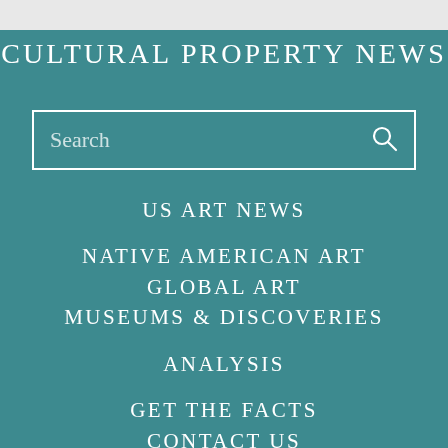CULTURAL PROPERTY NEWS
Search
US ART NEWS
NATIVE AMERICAN ART
GLOBAL ART
MUSEUMS & DISCOVERIES
ANALYSIS
GET THE FACTS
CONTACT US
TERMS AND CONDITIONS